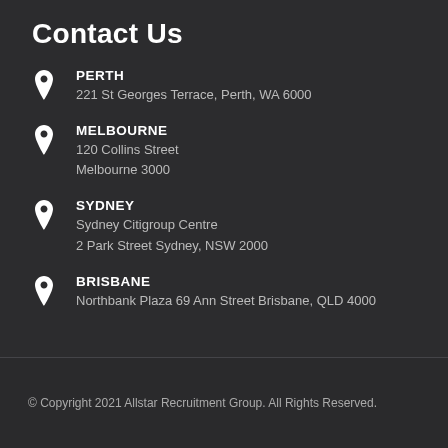Contact Us
PERTH
221 St Georges Terrace, Perth, WA 6000
MELBOURNE
120 Collins Street
Melbourne 3000
SYDNEY
Sydney Citigroup Centre
2 Park Street Sydney, NSW 2000
BRISBANE
Northbank Plaza 69 Ann Street Brisbane, QLD 4000
© Copyright 2021 Allstar Recruitment Group. All Rights Reserved.